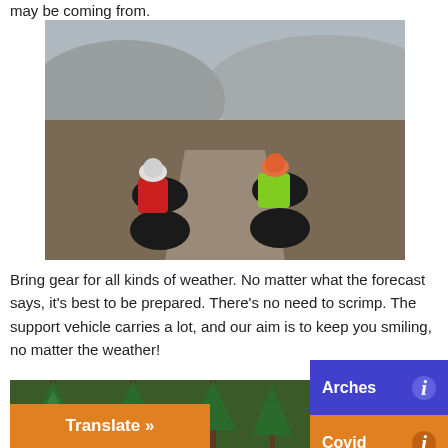may be coming from.
[Figure (photo): Two mountain bikers riding toward the camera on a wet dirt road in a rainy, misty canyon landscape. The rider on the left wears a red jacket and white helmet; the rider on the right wears a bright green jacket and orange helmet.]
Bring gear for all kinds of weather. No matter what the forecast says, it's best to be prepared. There's no need to scrimp. The support vehicle carries a lot, and our aim is to keep you smiling, no matter the weather!
[Figure (photo): Partially visible photo showing people among tall pine trees in a forest.]
Arches
Covid
Translate »